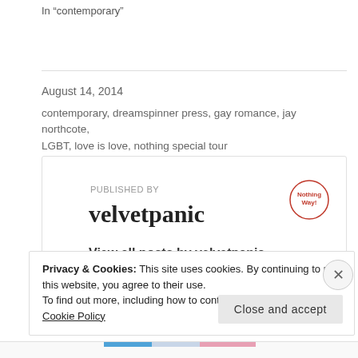In "contemporary"
August 14, 2014
contemporary, dreamspinner press, gay romance, jay northcote, LGBT, love is love, nothing special tour
PUBLISHED BY
velvetpanic

View all posts by velvetpanic
Privacy & Cookies: This site uses cookies. By continuing to use this website, you agree to their use.
To find out more, including how to control cookies, see here: Cookie Policy
Close and accept